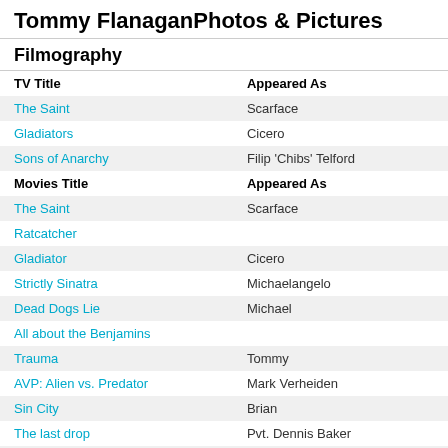Tommy FlanaganPhotos & Pictures
Filmography
| TV Title | Appeared As |
| --- | --- |
| The Saint | Scarface |
| Gladiators | Cicero |
| Sons of Anarchy | Filip 'Chibs' Telford |
| Movies Title | Appeared As |
| --- | --- |
| The Saint | Scarface |
| Ratcatcher |  |
| Gladiator | Cicero |
| Strictly Sinatra | Michaelangelo |
| Dead Dogs Lie | Michael |
| All about the Benjamins |  |
| Trauma | Tommy |
| AVP: Alien vs. Predator | Mark Verheiden |
| Sin City | Brian |
| The last drop | Pvt. Dennis Baker |
| When a Stranger Calls | Stranger |
| Hero Wanted | Derek |
| Luster | Les |
| Attila | Bleda |
| Officer Down | Father Reddy |